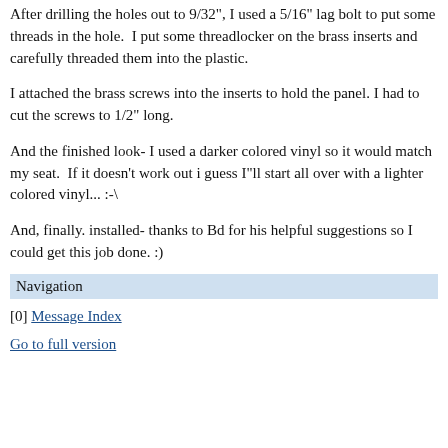After drilling the holes out to 9/32", I used a 5/16" lag bolt to put some threads in the hole.  I put some threadlocker on the brass inserts and carefully threaded them into the plastic.
I attached the brass screws into the inserts to hold the panel. I had to cut the screws to 1/2" long.
And the finished look- I used a darker colored vinyl so it would match my seat.  If it doesn't work out i guess I"ll start all over with a lighter colored vinyl... :-\
And, finally. installed- thanks to Bd for his helpful suggestions so I could get this job done. :)
Navigation
[0] Message Index
Go to full version